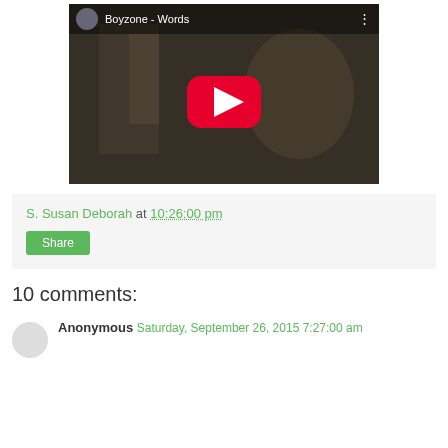[Figure (screenshot): YouTube video embed thumbnail showing 'Boyzone - Words' with a woman at a piano in a dark sepia-toned scene and a red YouTube play button in the center]
S. Susan Deborah at 10:26:00 pm
Share
10 comments:
Anonymous Saturday, September 26, 2015 7:27:00 am